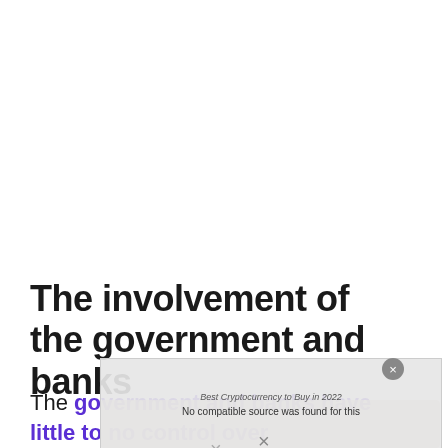The involvement of the government and banks
The government and banks have little to no control over